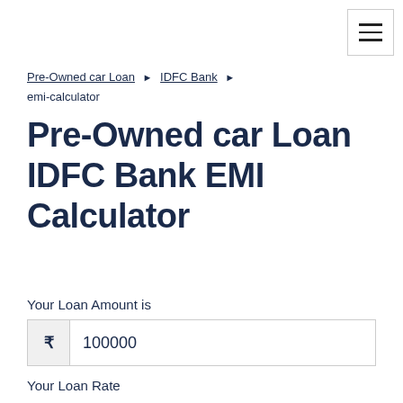[Figure (other): Hamburger menu button in top right corner]
Pre-Owned car Loan ▶ IDFC Bank ▶ emi-calculator
Pre-Owned car Loan IDFC Bank EMI Calculator
Your Loan Amount is
₹ 100000
Your Loan Rate